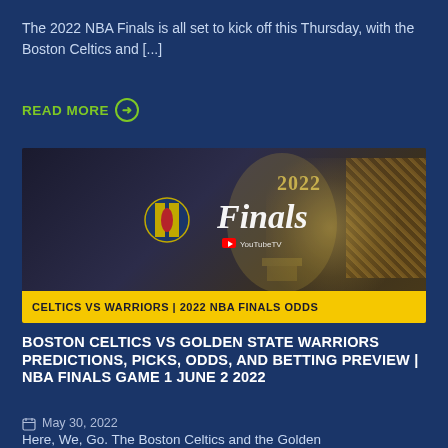The 2022 NBA Finals is all set to kick off this Thursday, with the Boston Celtics and [...]
READ MORE ➔
[Figure (photo): Thumbnail image showing the 2022 NBA Finals trophy with text overlay 'CELTICS VS WARRIORS | 2022 NBA FINALS ODDS' on a yellow banner at bottom. NBA and YouTube TV logos visible.]
BOSTON CELTICS VS GOLDEN STATE WARRIORS PREDICTIONS, PICKS, ODDS, AND BETTING PREVIEW | NBA FINALS GAME 1 JUNE 2 2022
May 30, 2022
Here, We, Go. The Boston Celtics and the Golden